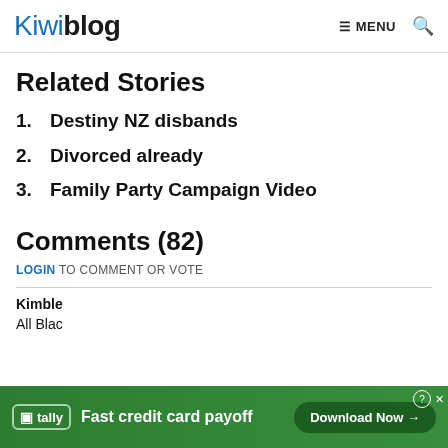Kiwiblog  ≡ MENU 🔍
Related Stories
1. Destiny NZ disbands
2. Divorced already
3. Family Party Campaign Video
Comments (82)
LOGIN TO COMMENT OR VOTE
Kimble
All Blac
[Figure (other): Tally advertisement banner: Fast credit card payoff with Download Now button]